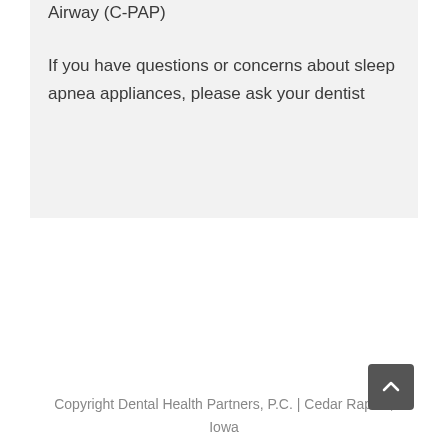Airway (C-PAP)
If you have questions or concerns about sleep apnea appliances, please ask your dentist
Copyright Dental Health Partners, P.C. | Cedar Rapids, Iowa